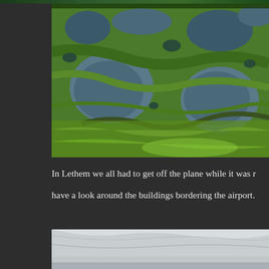[Figure (photo): Aerial photograph of wetlands and marshland with winding waterways, green vegetation, and dark water pools viewed from above]
In Lethem we all had to get off the plane while it was r have a look around the buildings bordering the airport.
[Figure (photo): Partial view of a building with light grey sky, possibly airport buildings at Lethem]